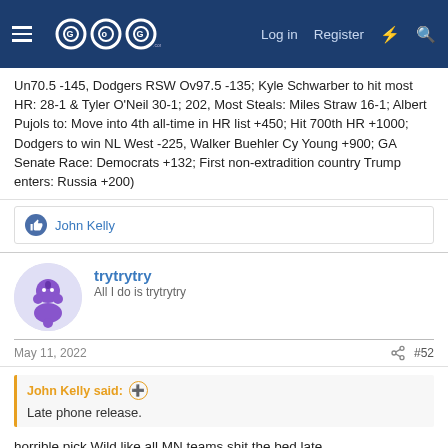GOG.com forum header with Log in, Register navigation
Un70.5 -145, Dodgers RSW Ov97.5 -135; Kyle Schwarber to hit most HR: 28-1 & Tyler O'Neil 30-1; 202, Most Steals: Miles Straw 16-1; Albert Pujols to: Move into 4th all-time in HR list +450; Hit 700th HR +1000; Dodgers to win NL West -225, Walker Buehler Cy Young +900; GA Senate Race: Democrats +132; First non-extradition country Trump enters: Russia +200)
John Kelly
trytrytry
All I do is trytrytry
May 11, 2022
#52
John Kelly said:
Late phone release.
horrible pick Wild like all MN teams shit the bed late
◄◄  ◄ Prev  2 of 2